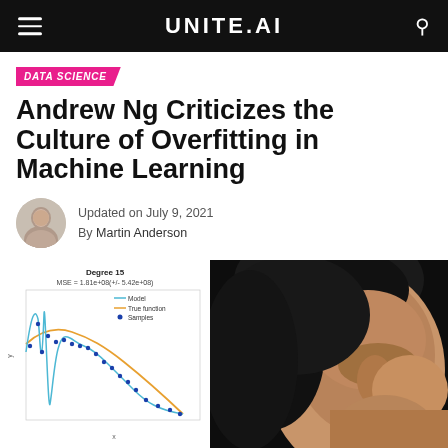UNITE.AI
DATA SCIENCE
Andrew Ng Criticizes the Culture of Overfitting in Machine Learning
Updated on July 9, 2021
By Martin Anderson
[Figure (continuous-plot): Overfitting chart: Degree 15 polynomial fit, MSE = 1.81e+08 (+/- 5.42e+08). Shows blue wiggly model curve, orange true function curve, and blue dot samples. Legend: Model, True function, Samples.]
[Figure (photo): Close-up photo of Andrew Ng looking upward, against a dark background.]